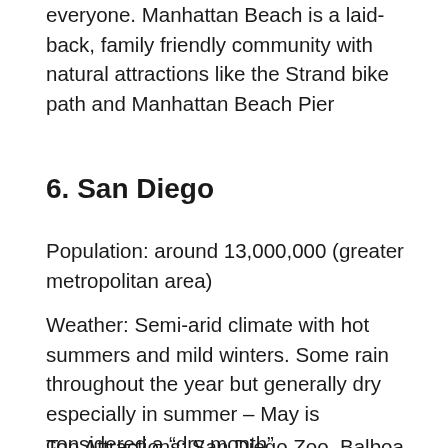everyone. Manhattan Beach is a laid-back, family friendly community with natural attractions like the Strand bike path and Manhattan Beach Pier
6. San Diego
Population: around 13,000,000 (greater metropolitan area)
Weather: Semi-arid climate with hot summers and mild winters. Some rain throughout the year but generally dry especially in summer – May is considered a “dry month”.
Top Attractions: San Diego Zoo, Balboa Park